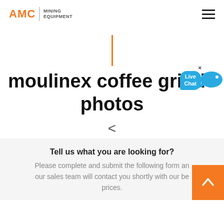AMC | MINING EQUIPMENT
moulinex coffee grinder photos
<
Tell us what you are looking for?
Please complete and submit the following form and our sales team will contact you shortly with our best prices.